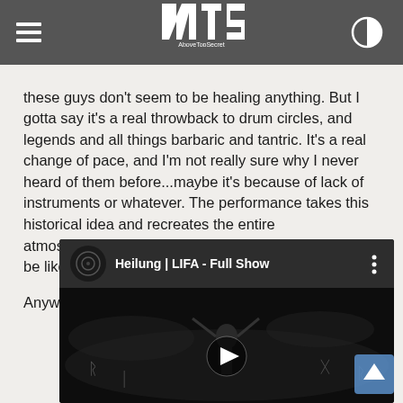AboveTopSecret (4TS logo)
these guys don't seem to be healing anything. But I gotta say it's a real throwback to drum circles, and legends and all things barbaric and tantric. It's a real change of pace, and I'm not really sure why I never heard of them before...maybe it's because of lack of instruments or whatever. The performance takes this historical idea and recreates the entire atmosphere...maybe this is what drum circles used to be like?

Anyways...give it a listen let me know what you think...
[Figure (screenshot): YouTube video embed showing 'Heilung | LIFA - Full Show' with play button overlay on dark concert stage background with mystical/runic symbols and a performer with raised arms]